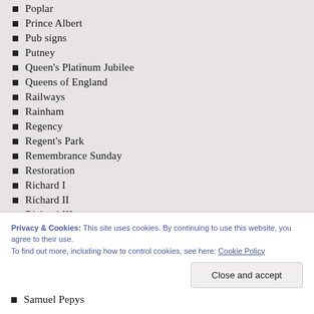Poplar
Prince Albert
Pub signs
Putney
Queen's Platinum Jubilee
Queens of England
Railways
Rainham
Regency
Regent's Park
Remembrance Sunday
Restoration
Richard I
Richard II
Richard III
Privacy & Cookies: This site uses cookies. By continuing to use this website, you agree to their use.
To find out more, including how to control cookies, see here: Cookie Policy
Samuel Pepys